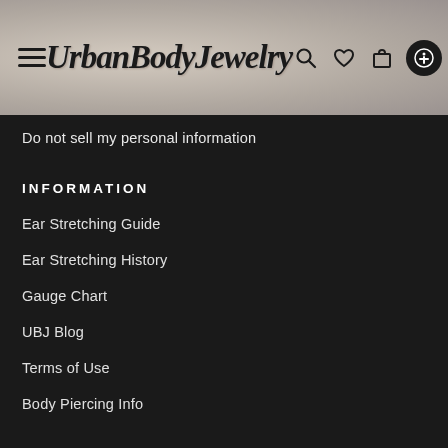UrbanBodyJewelry
Do not sell my personal information
INFORMATION
Ear Stretching Guide
Ear Stretching History
Gauge Chart
UBJ Blog
Terms of Use
Body Piercing Info
ACCOUNT & CHECKOUT